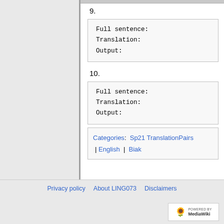9.
Full sentence:
Translation:
Output:
10.
Full sentence:
Translation:
Output:
Categories:  Sp21 TranslationPairs | English | Biak
Privacy policy   About LING073   Disclaimers